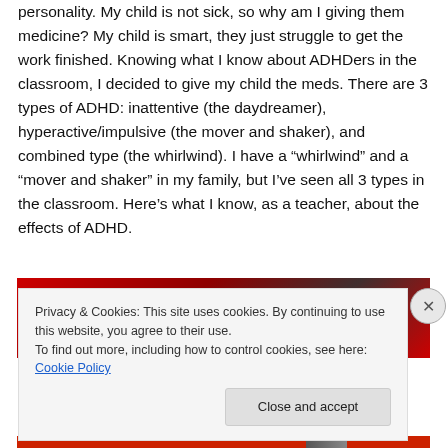personality.  My child is not sick, so why am I giving them medicine? My child is smart, they just struggle to get the work finished.  Knowing what I know about ADHDers in the classroom, I decided to give my child the meds.  There are 3 types of ADHD:  inattentive (the daydreamer), hyperactive/impulsive (the mover and shaker), and combined type (the whirlwind).  I have a “whirlwind” and a “mover and shaker” in my family, but I’ve seen all 3 types in the classroom.  Here’s what I know, as a teacher, about the effects of ADHD.
[Figure (photo): Red and dark colored image, partially visible behind cookie consent banner]
Privacy & Cookies: This site uses cookies. By continuing to use this website, you agree to their use.
To find out more, including how to control cookies, see here: Cookie Policy